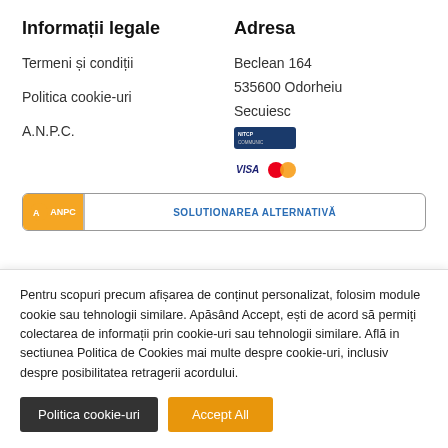Informații legale
Adresa
Termeni și condiții
Beclean 164
Politica cookie-uri
535600 Odorheiu
A.N.P.C.
Secuiesc
[Figure (logo): Payment logos: NITCP/bank card logo and VISA/Mastercard logo]
[Figure (logo): ANPC banner with orange logo icon and text SOLUTIONAREA ALTERNATIVĂ in blue]
Pentru scopuri precum afișarea de conținut personalizat, folosim module cookie sau tehnologii similare. Apăsând Accept, ești de acord să permiți colectarea de informații prin cookie-uri sau tehnologii similare. Află in sectiunea Politica de Cookies mai multe despre cookie-uri, inclusiv despre posibilitatea retragerii acordului.
Politica cookie-uri
Accept All